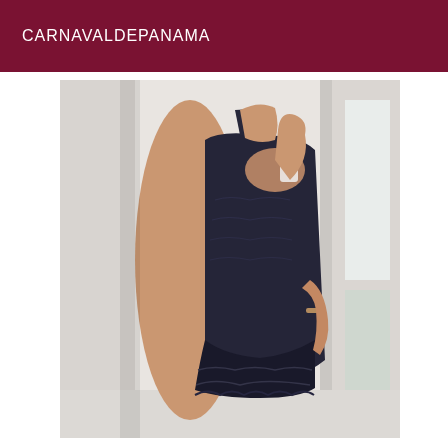CARNAVALDEPANAMA
[Figure (photo): A person taking a mirror selfie wearing a black lace/embroidered short dress. The person is shown from neck to knee, with one arm raised holding a phone. The background shows white walls and a door. The photo is somewhat blurry.]